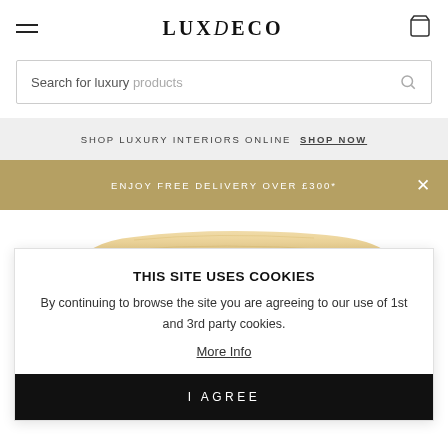LUXDECO
Search for luxury products
SHOP LUXURY INTERIORS ONLINE SHOP NOW
ENJOY FREE DELIVERY OVER £300*
[Figure (photo): Wooden tray or furniture piece shown partially, light natural wood color]
THIS SITE USES COOKIES
By continuing to browse the site you are agreeing to our use of 1st and 3rd party cookies.
More Info
I AGREE